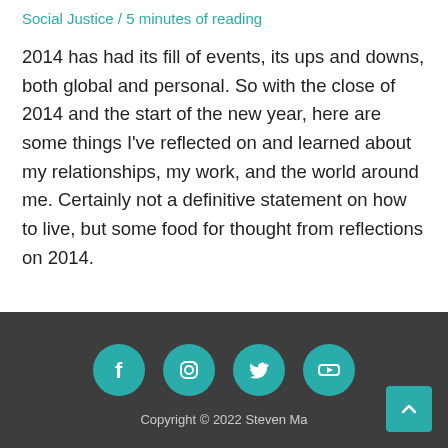Social Justice / 5 minutes of reading
2014 has had its fill of events, its ups and downs, both global and personal. So with the close of 2014 and the start of the new year, here are some things I've reflected on and learned about my relationships, my work, and the world around me. Certainly not a definitive statement on how to live, but some food for thought from reflections on 2014.
Copyright © 2022 Steven Ma